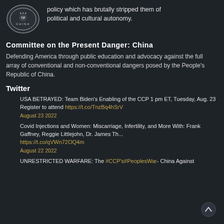[Figure (logo): Committee on the Present Danger: China circular seal logo in light gray on dark background]
policy which has brutally stripped them of political and cultural autonomy.
Committee on the Present Danger: China
Defending America through public education and advocacy against the full array of conventional and non-conventional dangers posed by the People's Republic of China.
Twitter
USA BETRAYED: Team Biden's Enabling of the CCP 1 pm ET, Tuesday, Aug. 23 Register to attend https://t.co/TnzBq4hSrV
August 23 2022
Covid Injections and Women: Miscarriage, Infertility, and More With: Frank Gaffney, Reggie Littlejohn, Dr. James Th... https://t.co/qVWn72OQ4m
August 22 2022
UNRESTRICTED WARFARE: The #CCP's#PeoplesWar- China Against